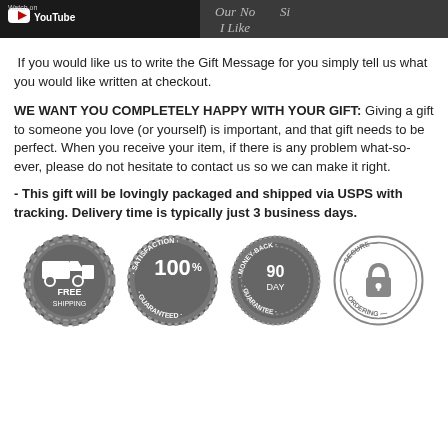[Figure (screenshot): Header image showing YouTube watch button and decorative chalkboard text]
If you would like us to write the Gift Message for you simply tell us what you would like written at checkout.
WE WANT YOU COMPLETELY HAPPY WITH YOUR GIFT: Giving a gift to someone you love (or yourself) is important, and that gift needs to be perfect. When you receive your item, if there is any problem what-so-ever, please do not hesitate to contact us so we can make it right.
- This gift will be lovingly packaged and shipped via USPS with tracking. Delivery time is typically just 3 business days.
[Figure (infographic): Four trust badge icons: FREE SHIPPING, 100% SATISFACTION GUARANTEED, 90 DAY MONEY-BACK GUARANTEE, SECURE ORDERING]